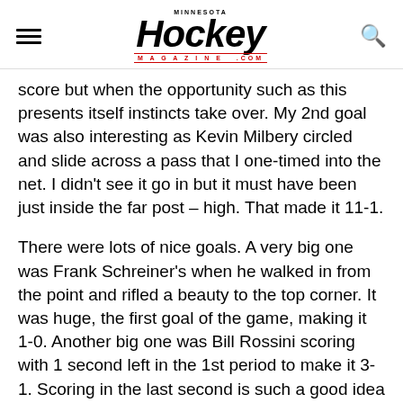Minnesota Hockey Magazine
score but when the opportunity such as this presents itself instincts take over. My 2nd goal was also interesting as Kevin Milbery circled and slide across a pass that I one-timed into the net. I didn't see it go in but it must have been just inside the far post – high. That made it 11-1.
There were lots of nice goals. A very big one was Frank Schreiner's when he walked in from the point and rifled a beauty to the top corner. It was huge, the first goal of the game, making it 1-0. Another big one was Bill Rossini scoring with 1 second left in the 1st period to make it 3-1. Scoring in the last second is such a good idea I'm surprised more teams don't do it. Yet – he seemed to hurry his shot a bit